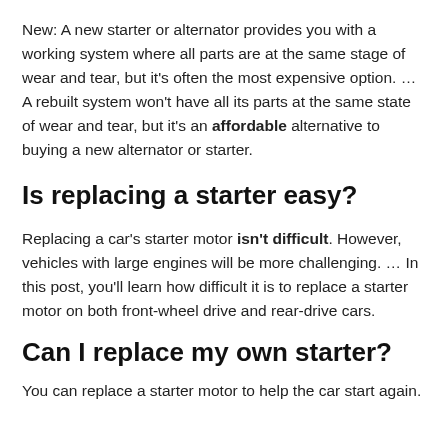New: A new starter or alternator provides you with a working system where all parts are at the same stage of wear and tear, but it's often the most expensive option. … A rebuilt system won't have all its parts at the same state of wear and tear, but it's an affordable alternative to buying a new alternator or starter.
Is replacing a starter easy?
Replacing a car's starter motor isn't difficult. However, vehicles with large engines will be more challenging. … In this post, you'll learn how difficult it is to replace a starter motor on both front-wheel drive and rear-drive cars.
Can I replace my own starter?
You can replace...